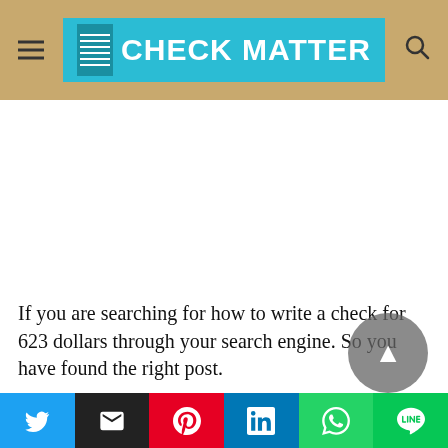CHECK MATTER
If you are searching for how to write a check for 623 dollars through your search engine. So you have found the right post.